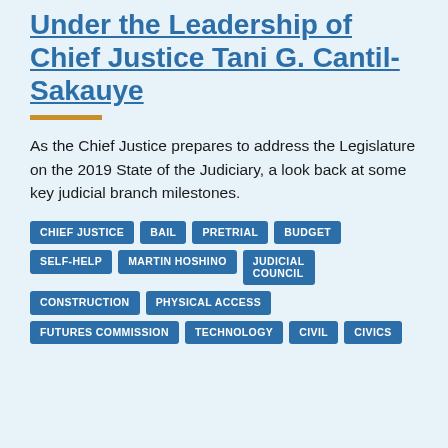Under the Leadership of Chief Justice Tani G. Cantil-Sakauye
As the Chief Justice prepares to address the Legislature on the 2019 State of the Judiciary, a look back at some key judicial branch milestones.
CHIEF JUSTICE
BAIL
PRETRIAL
BUDGET
SELF-HELP
MARTIN HOSHINO
JUDICIAL COUNCIL
CONSTRUCTION
PHYSICAL ACCESS
FUTURES COMMISSION
TECHNOLOGY
CIVIL
CIVICS